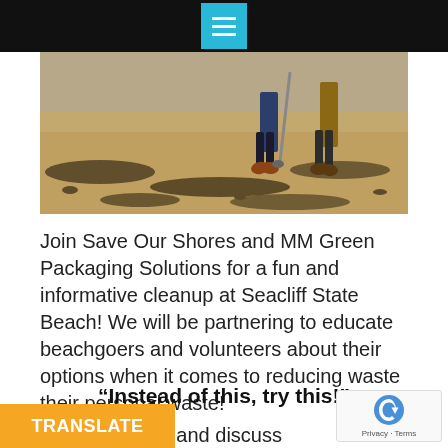Navigation menu icon on dark header bar
[Figure (photo): Beach cleanup scene showing people walking on a sandy beach with seaweed and debris scattered on the ground]
Join Save Our Shores and MM Green Packaging Solutions for a fun and informative cleanup at Seacliff State Beach! We will be partnering to educate beachgoers and volunteers about their options when it comes to reducing waste their personal waste!
“Instead of this, try this!”
We will display and discuss alternatives for the plastic trash items we find on the beach, as w... h brands are most polluting... keep will also be displaying...